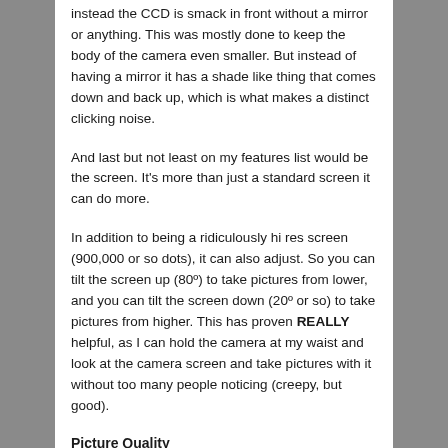instead the CCD is smack in front without a mirror or anything. This was mostly done to keep the body of the camera even smaller. But instead of having a mirror it has a shade like thing that comes down and back up, which is what makes a distinct clicking noise.
And last but not least on my features list would be the screen. It’s more than just a standard screen it can do more.
In addition to being a ridiculously hi res screen (900,000 or so dots), it can also adjust. So you can tilt the screen up (80º) to take pictures from lower, and you can tilt the screen down (20º or so) to take pictures from higher. This has proven REALLY helpful, as I can hold the camera at my waist and look at the camera screen and take pictures with it without too many people noticing (creepy, but good).
Picture Quality
This is perhaps the most important thing when it comes to